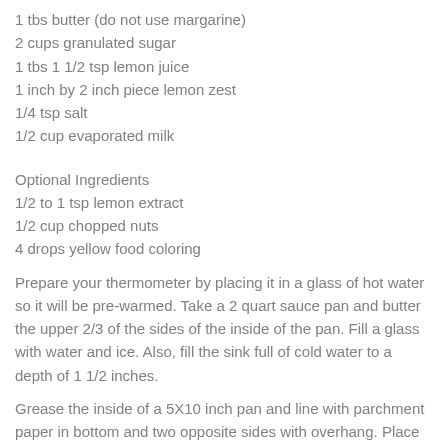1 tbs butter (do not use margarine)
2 cups granulated sugar
1 tbs 1 1/2 tsp lemon juice
1 inch by 2 inch piece lemon zest
1/4 tsp salt
1/2 cup evaporated milk
Optional Ingredients
1/2 to 1 tsp lemon extract
1/2 cup chopped nuts
4 drops yellow food coloring
Prepare your thermometer by placing it in a glass of hot water so it will be pre-warmed.  Take a 2 quart sauce pan and butter the upper 2/3 of the sides of the inside of the pan.  Fill a glass with water and ice.  Also, fill the sink full of cold water to a depth of 1 1/2 inches.
Grease the inside of a 5X10 inch pan and line with parchment paper in bottom and two opposite sides with overhang.  Place the butter in the freezer.
Place all ingredients in the saucepan with the exception of